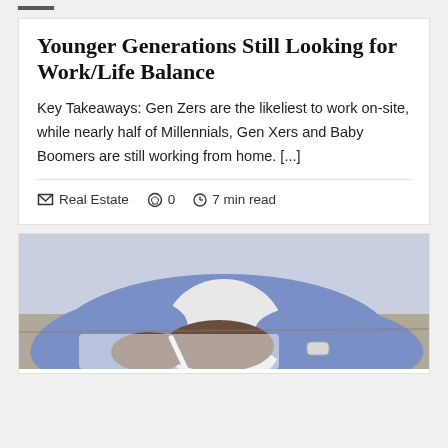Younger Generations Still Looking for Work/Life Balance
Key Takeaways: Gen Zers are the likeliest to work on-site, while nearly half of Millennials, Gen Xers and Baby Boomers are still working from home. [...]
Real Estate   0   7 min read
[Figure (photo): Person in blue/lavender blazer writing with a pen, close-up of hands and torso]